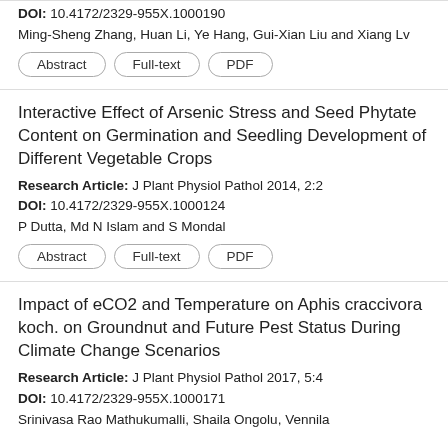DOI: 10.4172/2329-955X.1000190
Ming-Sheng Zhang, Huan Li, Ye Hang, Gui-Xian Liu and Xiang Lv
Abstract | Full-text | PDF
Interactive Effect of Arsenic Stress and Seed Phytate Content on Germination and Seedling Development of Different Vegetable Crops
Research Article: J Plant Physiol Pathol 2014, 2:2
DOI: 10.4172/2329-955X.1000124
P Dutta, Md N Islam and S Mondal
Abstract | Full-text | PDF
Impact of eCO2 and Temperature on Aphis craccivora koch. on Groundnut and Future Pest Status During Climate Change Scenarios
Research Article: J Plant Physiol Pathol 2017, 5:4
DOI: 10.4172/2329-955X.1000171
Srinivasa Rao Mathukumalli, Shaila Ongolu, Vennila